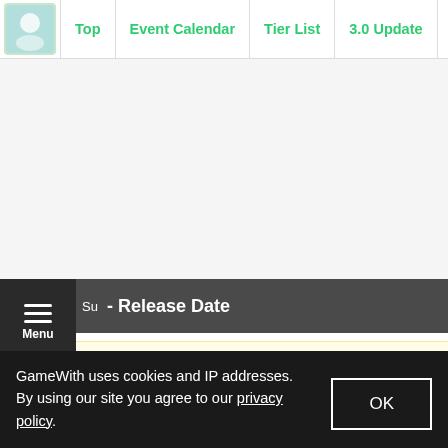Top | Event Calendar | Tier List | 3.0 Update | Electroc
[Figure (other): Large blank/ad space area]
Su - Release Date
This section is based on rumors and speculations. Check back for
GameWith uses cookies and IP addresses. By using our site you agree to our privacy policy.